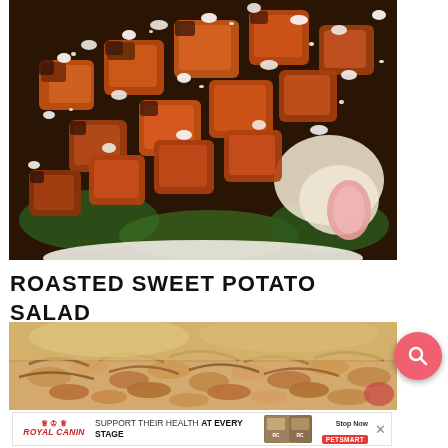[Figure (photo): Close-up photo of roasted sweet potato salad in a white bowl, showing caramelized sweet potato cubes with crumbled white cheese (feta), green spinach leaves, and what appears to be bacon pieces]
ROASTED SWEET POTATO SALAD
[Figure (photo): Partial photo of another dish showing crispy fried onions or similar topping in a casserole dish]
[Figure (other): Royal Canin advertisement banner: 'SUPPORT THEIR HEALTH AT EVERY STAGE' with pet food bag images and PetSmart branding]